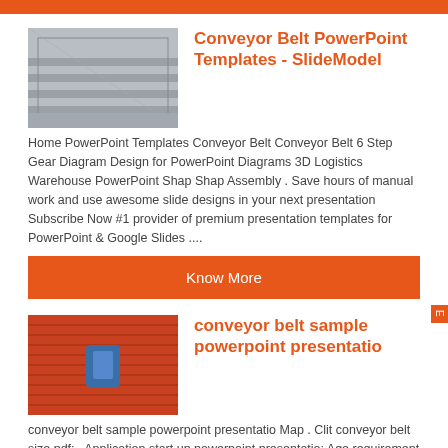[Figure (other): Orange horizontal bar at top of page]
[Figure (photo): Thumbnail image of conveyor belt - grey metallic conveyor system]
Conveyor Belt PowerPoint Templates - SlideModel
Home PowerPoint Templates Conveyor Belt Conveyor Belt 6 Step Gear Diagram Design for PowerPoint Diagrams 3D Logistics Warehouse PowerPoint Shap Shap Assembly . Save hours of manual work and use awesome slide designs in your next presentation Subscribe Now #1 provider of premium presentation templates for PowerPoint & Google Slides ....
[Figure (other): Know More orange button]
[Figure (photo): Thumbnail image of conveyor belt - red/orange conveyor belt surface with blue element]
conveyor belt sample powerpoint presentatio
conveyor belt sample powerpoint presentatio Map . Clit conveyor belt size pdf; . Application start up powerpoint presentatio; Age requirement for uitf application; Application letter sampl Science Fair Project Ideas: 1,200+ Free K-12 Science Projects Over 1,200 free science projects searchable by subject, difficulty, time, cost and ....
[Figure (other): Know More orange button (partial)]